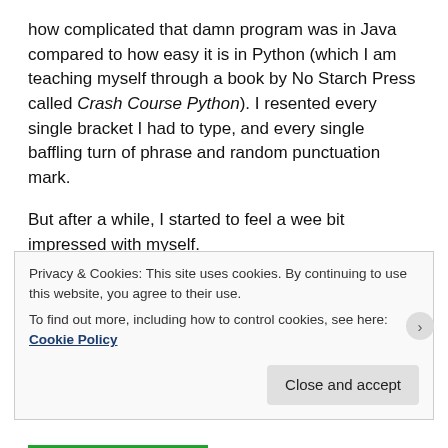how complicated that damn program was in Java compared to how easy it is in Python (which I am teaching myself through a book by No Starch Press called Crash Course Python). I resented every single bracket I had to type, and every single baffling turn of phrase and random punctuation mark.
But after a while, I started to feel a wee bit impressed with myself.
I am such a n00b at this stuff still, but the things I have managed to accomplish have made me really proud. I wrote a program to create a minesweeper grid. I wrote
Privacy & Cookies: This site uses cookies. By continuing to use this website, you agree to their use.
To find out more, including how to control cookies, see here: Cookie Policy